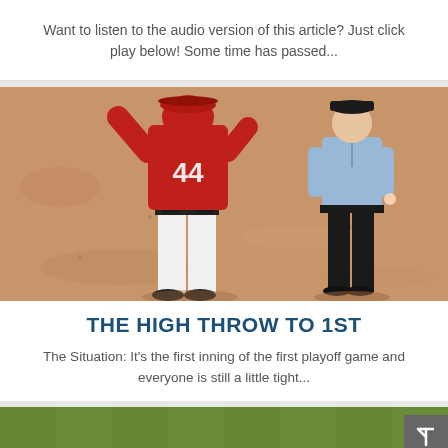Want to listen to the audio version of this article? Just click play below! Some time has passed...
[Figure (photo): Baseball player wearing red jersey number 44 and white pants standing on a dirt infield, with an umpire in a blue shirt and black pants standing in the background to the right.]
THE HIGH THROW TO 1ST
The Situation: It's the first inning of the first playoff game and everyone is still a little tight...
[Figure (photo): Partial view of a green grass baseball outfield, cropped at the bottom of the page.]